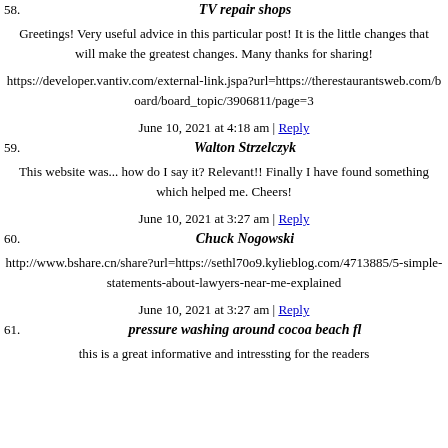TV repair shops
Greetings! Very useful advice in this particular post! It is the little changes that will make the greatest changes. Many thanks for sharing!
https://developer.vantiv.com/external-link.jspa?url=https://therestaurantsweb.com/board/board_topic/3906811/page=3
June 10, 2021 at 4:18 am | Reply
59. Walton Strzelczyk
This website was... how do I say it? Relevant!! Finally I have found something which helped me. Cheers!
June 10, 2021 at 3:27 am | Reply
60. Chuck Nogowski
http://www.bshare.cn/share?url=https://sethl70o9.kylieblog.com/4713885/5-simple-statements-about-lawyers-near-me-explained
June 10, 2021 at 3:27 am | Reply
61. pressure washing around cocoa beach fl
this is a great informative and interesting for the readers